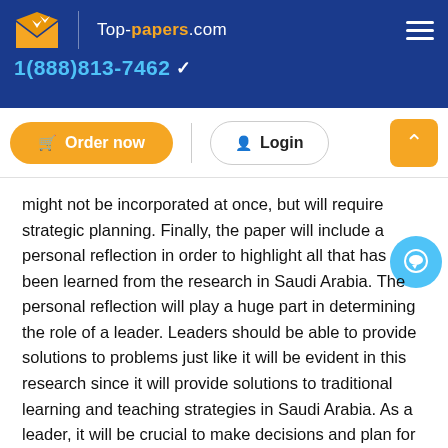Top-papers.com | 1(888)813-7462
might not be incorporated at once, but will require strategic planning. Finally, the paper will include a personal reflection in order to highlight all that has been learned from the research in Saudi Arabia. The personal reflection will play a huge part in determining the role of a leader. Leaders should be able to provide solutions to problems just like it will be evident in this research since it will provide solutions to traditional learning and teaching strategies in Saudi Arabia. As a leader, it will be crucial to make decisions and plan for resources that will be required in order to implement the recommended solutions towards ensuring efficiency and effectiveness of teaching and learning strategies in Saudi Arabia.
Literature Review